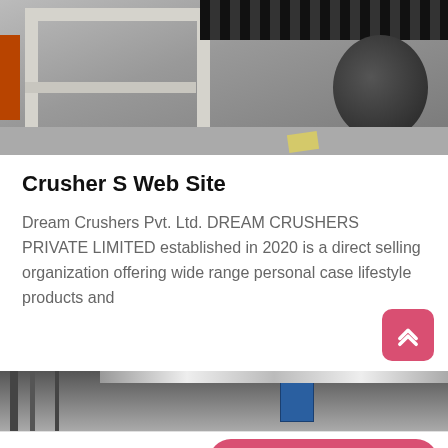[Figure (photo): Industrial crusher machine with white metal frame/shelf structure in the foreground and dark machinery in background, on concrete floor]
Crusher S Web Site
Dream Crushers Pvt. Ltd. DREAM CRUSHERS PRIVATE LIMITED established in 2020 is a direct selling organization offering wide range personal case lifestyle products and
[Figure (photo): Industrial facility interior with overhead structures, blue signage, and fluorescent lighting]
Leave Message   Chat Online